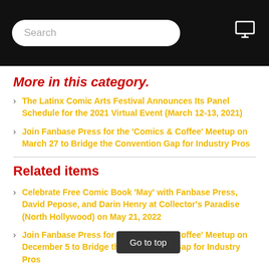Search
More in this category.
The Latinx Comic Arts Festival Announces Its Panel Schedule for the 2021 Virtual Event (March 12-13, 2021)
Join Fanbase Press for the 'Comics & Coffee' Meetup on March 27 to Bridge the Convention Gap for Industry Pros
Related items
Celebrate Free Comic Book 'May' with Fanbase Press, David Pepose, and Darin Henry at Collector's Paradise (North Hollywood) on May 21, 2022
Join Fanbase Press for the 'Comics & Coffee' Meetup on December 5 to Bridge the Convention Gap for Industry Pros
Join Fanbase Press for the 'Comics & Coffee' Meetup on November 27 to Bridge the Convention Gap for Industry Pros
Join Fanbase Press for the 'Comics & Coffee' Meetup on November 20 to Bridge the Convention Gap for Industry Pros